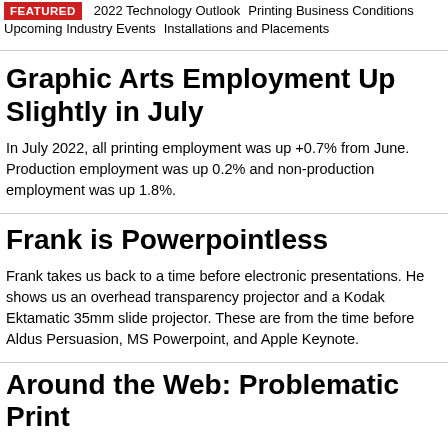FEATURED  2022 Technology Outlook  Printing Business Conditions  Upcoming Industry Events  Installations and Placements
Graphic Arts Employment Up Slightly in July
In July 2022, all printing employment was up +0.7% from June. Production employment was up 0.2% and non-production employment was up 1.8%.
Frank is Powerpointless
Frank takes us back to a time before electronic presentations. He shows us an overhead transparency projector and a Kodak Ektamatic 35mm slide projector. These are from the time before Aldus Persuasion, MS Powerpoint, and Apple Keynote.
Around the Web: Problematic Print